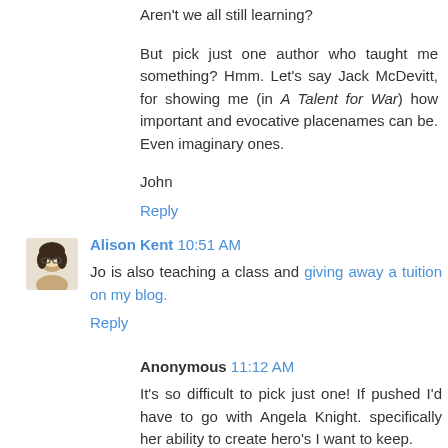Aren't we all still learning?
But pick just one author who taught me something? Hmm. Let's say Jack McDevitt, for showing me (in A Talent for War) how important and evocative placenames can be. Even imaginary ones.
John
Reply
Alison Kent  10:51 AM
Jo is also teaching a class and giving away a tuition on my blog.
Reply
Anonymous  11:12 AM
It's so difficult to pick just one! If pushed I'd have to go with Angela Knight. specifically her ability to create hero's I want to keep.